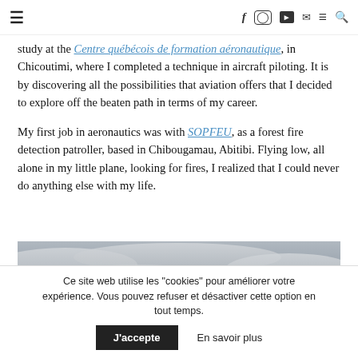Navigation bar with hamburger menu, social icons (f, Instagram, YouTube, mail), menu, search
study at the Centre québécois de formation aéronautique, in Chicoutimi, where I completed a technique in aircraft piloting. It is by discovering all the possibilities that aviation offers that I decided to explore off the beaten path in terms of my career.
My first job in aeronautics was with SOPFEU, as a forest fire detection patroller, based in Chibougamau, Abitibi. Flying low, all alone in my little plane, looking for fires, I realized that I could never do anything else with my life.
[Figure (photo): Aerial sky photo showing grey overcast clouds viewed from above or at low altitude]
Ce site web utilise les "cookies" pour améliorer votre expérience. Vous pouvez refuser et désactiver cette option en tout temps. J'accepte En savoir plus